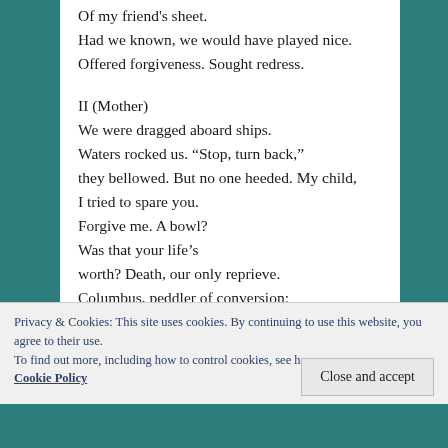Of my friend's sheet.
Had we known, we would have played nice.
Offered forgiveness. Sought redress.

II (Mother)
We were dragged aboard ships.
Waters rocked us. “Stop, turn back,”
they bellowed. But no one heeded. My child,
I tried to spare you.
Forgive me. A bowl?
Was that your life’s
worth? Death, our only reprieve.
Columbus, peddler of conversion:
whip or cross; which would endure?
Dance sister. like you hear
Privacy & Cookies: This site uses cookies. By continuing to use this website, you agree to their use.
To find out more, including how to control cookies, see here: Cookie Policy